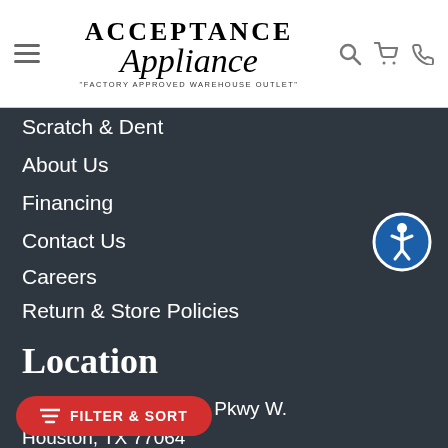Acceptance Appliance – "Factory Approved Warehouse Outlet"
Scratch & Dent
About Us
Financing
Contact Us
Careers
Return & Store Policies
Location
6765 N. Sam Houston Pkwy W.
Houston, TX 77064
Email: info@acceptanceappliance.com